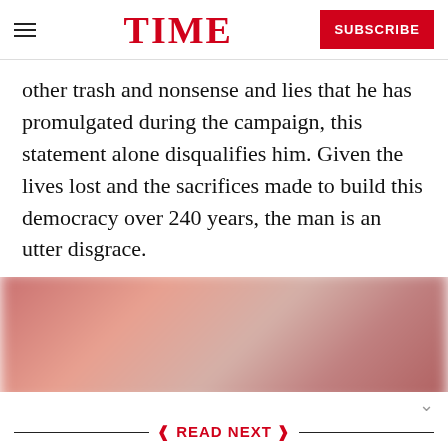TIME | SUBSCRIBE
other trash and nonsense and lies that he has promulgated during the campaign, this statement alone disqualifies him. Given the lives lost and the sacrifices made to build this democracy over 240 years, the man is an utter disgrace.
[Figure (photo): Blurred/obscured reddish-pink background photo]
READ NEXT
[Figure (photo): Dark photo of Donald Trump speaking at a podium, profile view]
How Donald Trump Undermined American Democracy